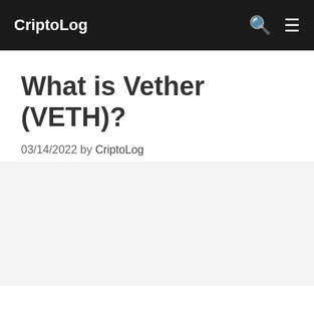CriptoLog
What is Vether (VETH)?
03/14/2022 by CriptoLog